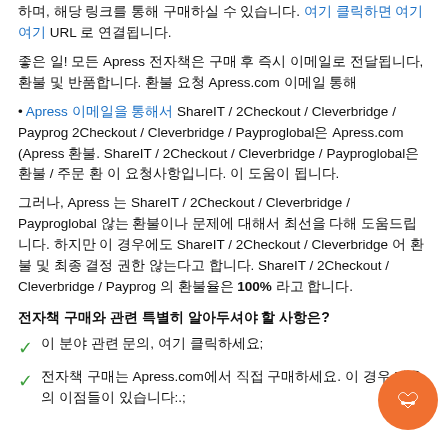하며, 해당 링크를 통해 구매하실 수 있습니다. 여기 클릭하면 여기 여기 URL 로 연결됩니다.
좋은 일! 모든 Apress 전자책은 구매 후 즉시 이메일로 전달됩니다, 환불 및 반품합니다. 환불 요청 Apress.com 이메일 통해
• Apress 이메일을 통해서 ShareIT / 2Checkout / Cleverbridge / Payproglobal. 2Checkout / Cleverbridge / Payproglobal은 Apress.com (Apress 환불. ShareIT / 2Checkout / Cleverbridge / Payproglobal은 환불 / 주문 환불 이 요청사항입니다. 이 도움이 됩니다.
그러나, Apress 는 ShareIT / 2Checkout / Cleverbridge / Payproglobal 않는 환불이나 문제에 대해서 최선을 다해 도움드립니다. 하지만 이 경우에도 ShareIT / 2Checkout / Cleverbridge 어 환불 및 최종 결정 권한 않는다고 합니다. ShareIT / 2Checkout / Cleverbridge / Payprog 의 환불율은 100% 라고 합니다.
전자책 구매와 관련 특별히 알아두셔야 할 사항은?
이 분야 관련 문의, 여기 클릭하세요;
전자책 구매는 Apress.com에서 직접 구매하세요. 이 경우 다음의 이점들이 있습니다:.